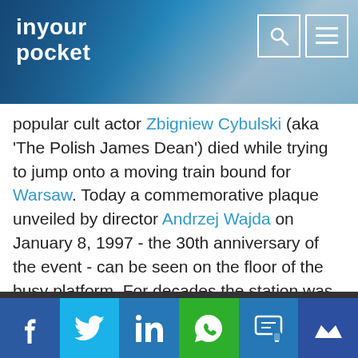in your pocket
popular cult actor Zbigniew Cybulski (aka 'The Polish James Dean') died while trying to jump onto a moving train bound for Warsaw. Today a commemorative plaque unveiled by director Andrzej Wajda on January 8, 1997 - the 30th anniversary of the event - can be seen on the floor of the busy platform. For decades the station was also famous for its small cinema – allegedly the last train station cinema in Europe. Operating without interruption from 1947 until December 2009, the tiny Kino Dworcowe was open around-the-clock, attracting an estimated seven million viewers (among them Cybulski) during its life span. By 2002 declining audience figures led the proprietors to try projecting erotica, though even this failed to stimulate sales. A last gasp attempt
Facebook Twitter LinkedIn WhatsApp SMS Mail